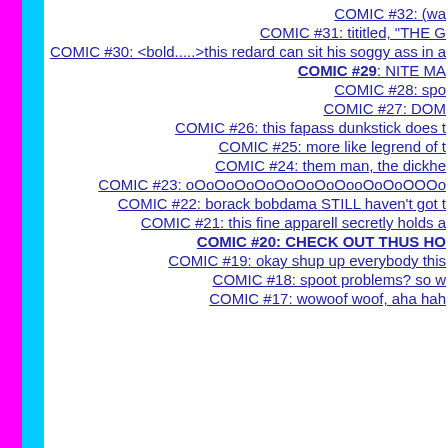COMIC #32: (wa
COMIC #31: tititled, "THE G
COMIC #30: <bold.....>this redard can sit his soggy ass in a
COMIC #29: NITE MA
COMIC #28: spo
COMIC #27: DOM
COMIC #26: this fapass dunkstick does t
COMIC #25: more like legrend of t
COMIC #24: them man, the dickhe
COMIC #23: oOoOoOoOoOoOoOoOooOoOoOOOo
COMIC #22: borack bobdama STILL haven't got t
COMIC #21: this fine apparell secretly holds a
COMIC #20: CHECK OUT THUS HO
COMIC #19: okay shup up everybody this
COMIC #18: spoot problems? so w
COMIC #17: wowoof woof, aha hah